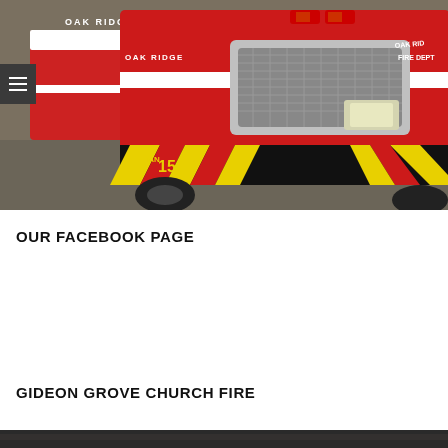[Figure (photo): Oak Ridge Fire Department red fire trucks (Tanker 15) lined up in a parking lot, showing the front grille and cab of the lead truck with yellow/red chevron striping on the bumper]
OUR FACEBOOK PAGE
GIDEON GROVE CHURCH FIRE
[Figure (photo): Dark partial image at the bottom of the page, appears to be the beginning of a fire scene photo]